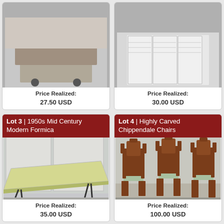[Figure (photo): Top-cropped image of a piece of furniture on wheels, partially visible at top of left card]
Price Realized:
27.50 USD
[Figure (photo): Top-cropped image of a white folding room divider/screen, partially visible at top of right card]
Price Realized:
30.00 USD
Lot 3 | 1950s Mid Century Modern Formica
[Figure (photo): A 1950s mid-century modern Formica table with a light green/yellow speckled top and black hairpin legs, photographed outdoors on concrete]
Price Realized:
35.00 USD
Lot 4 | Highly Carved Chippendale Chairs
[Figure (photo): A set of highly carved Chippendale-style mahogany chairs with green upholstered seats, arranged in a group]
Price Realized:
100.00 USD